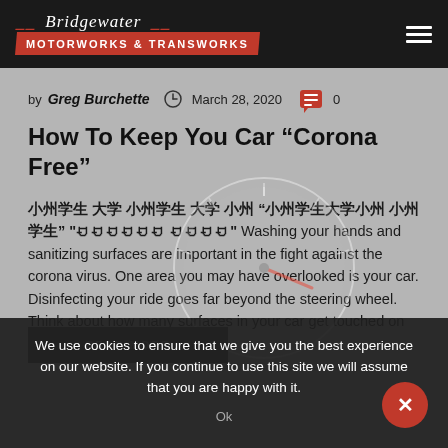Bridgewater MOTORWORKS & TRANSWORKS
by Greg Burchette  March 28, 2020  0
How To Keep You Car “Corona Free”
Washing your hands and sanitizing surfaces are important in the fight against the corona virus. One area you may have overlooked is your car. Disinfecting your ride goes far beyond the steering wheel. Think about how many surfaces in your car get touched on an average trip. The...
We use cookies to ensure that we give you the best experience on our website. If you continue to use this site we will assume that you are happy with it.
Ok